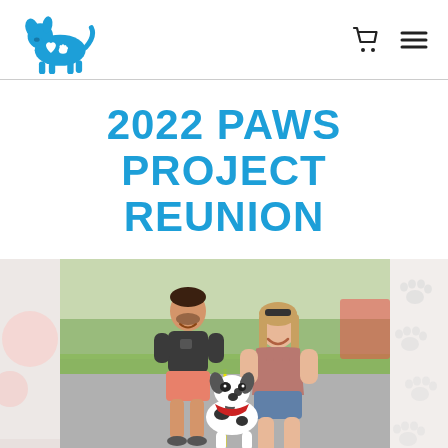2022 Paws Project — website header with logo and navigation icons
2022 PAWS PROJECT REUNION
[Figure (photo): A man and a woman crouching outdoors on a road/park path with a small black and white spotted dog wearing a red bandana between them. Partial panels on left and right edges show event decor and paw print graphics.]